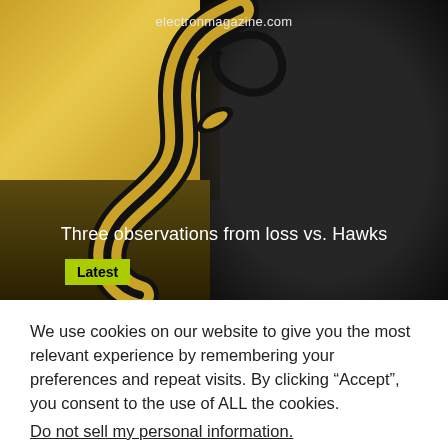[Figure (illustration): Hero banner image for electronmagazine.com showing a decorative gold and black ornamental swirl design with the text 'Three observations from loss vs. Hawks' and a 'Latest' badge in yellow-green]
electronmagazine.com
Three observations from loss vs. Hawks
Latest
We use cookies on our website to give you the most relevant experience by remembering your preferences and repeat visits. By clicking “Accept”, you consent to the use of ALL the cookies.
Do not sell my personal information.
Cookie Settings
Accept